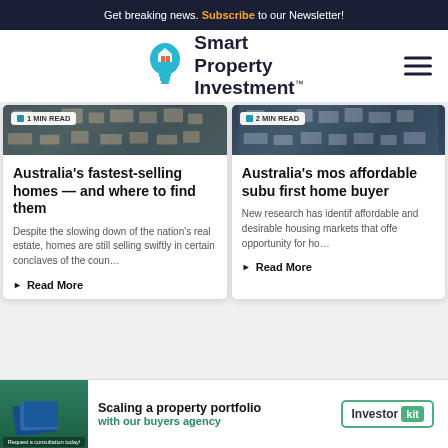Get breaking news. Subscribe to our Newsletter!
[Figure (logo): Smart Property Investment logo with lightbulb icon containing a house]
[Figure (photo): Aerial view of suburban homes - left card image, 1 MIN READ badge]
Australia's fastest-selling homes — and where to find them
Despite the slowing down of the nation's real estate, homes are still selling swiftly in certain conclaves of the coun…
Read More
[Figure (photo): Aerial view of suburban homes - right card image, 2 MIN READ badge]
Australia's most affordable subu first home buyer
New research has identif affordable and desirable housing markets that offe opportunity for ho…
Read More
[Figure (infographic): Advertisement banner: Scaling a property portfolio with our buyers agency - Investor Kit]